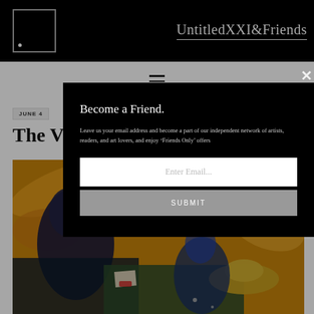UntitledXXI&Friends
JUNE 4
The V
[Figure (photo): Painting in the style of Van Gogh showing figures and a hat on a table with swirling yellow, orange, blue brushstrokes]
Become a Friend.

Leave us your email address and become a part of our independent network of artists, readers, and art lovers, and enjoy 'Friends Only' offers
Enter Email...
SUBMIT